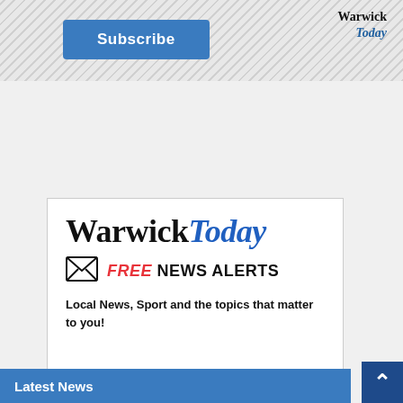[Figure (screenshot): Top banner advertisement with hatched/diagonal stripe background, containing a blue 'Subscribe' button on the left and 'Warwick Today' logo in blue italic on the right]
[Figure (infographic): White advertisement box for Warwick Today. Contains the 'WarwickToday' brand logo in large serif font with 'Today' in blue italic. Below is an envelope icon with 'FREE NEWS ALERTS' (FREE in red italic, NEWS ALERTS in bold black). Tagline reads 'Local News, Sport and the topics that matter to you!' Black footer bar reads 'Delivered to your email inbox' with a red rounded 'SIGN UP' button.]
Latest News